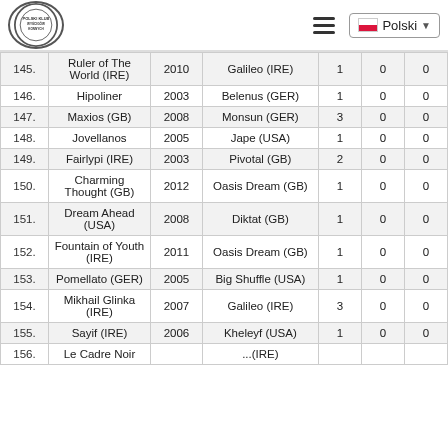Polski Klub - menu and language selector
| # | Name | Year | Sire | Col1 | Col2 | Col3 |
| --- | --- | --- | --- | --- | --- | --- |
| 145. | Ruler of The World (IRE) | 2010 | Galileo (IRE) | 1 | 0 | 0 |
| 146. | Hipoliner | 2003 | Belenus (GER) | 1 | 0 | 0 |
| 147. | Maxios (GB) | 2008 | Monsun (GER) | 3 | 0 | 0 |
| 148. | Jovellanos | 2005 | Jape (USA) | 1 | 0 | 0 |
| 149. | Fairlypi (IRE) | 2003 | Pivotal (GB) | 2 | 0 | 0 |
| 150. | Charming Thought (GB) | 2012 | Oasis Dream (GB) | 1 | 0 | 0 |
| 151. | Dream Ahead (USA) | 2008 | Diktat (GB) | 1 | 0 | 0 |
| 152. | Fountain of Youth (IRE) | 2011 | Oasis Dream (GB) | 1 | 0 | 0 |
| 153. | Pomellato (GER) | 2005 | Big Shuffle (USA) | 1 | 0 | 0 |
| 154. | Mikhail Glinka (IRE) | 2007 | Galileo (IRE) | 3 | 0 | 0 |
| 155. | Sayif (IRE) | 2006 | Kheleyf (USA) | 1 | 0 | 0 |
| 156. | Le Cadre Noir | ... | ...(IRE) | 1 | 0 | 0 |